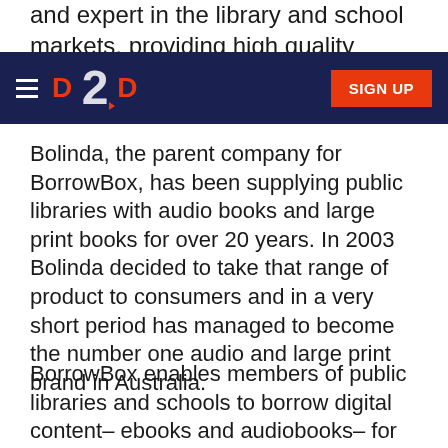and expert in the library and school markets, providing high quality electronic content solution and service.
[Figure (logo): D2D navigation bar with hamburger menu icon, D2D logo in red on dark navy background, and orange SIGN UP button on the right]
Bolinda, the parent company for BorrowBox, has been supplying public libraries with audio books and large print books for over 20 years. In 2003 Bolinda decided to take that range of product to consumers and in a very short period has managed to become the number one audio and large print brand in Australia.
BorrowBox enables members of public libraries and schools to borrow digital content– ebooks and audiobooks– for